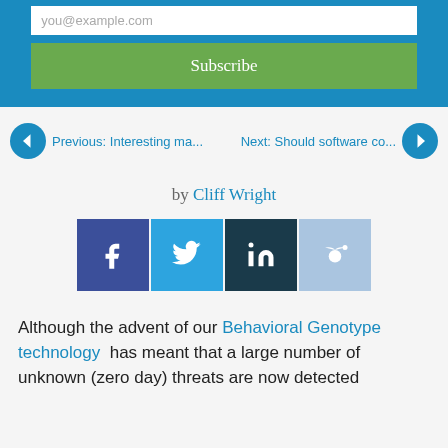[Figure (screenshot): Blue banner with email input showing 'you@example.com' placeholder and a green Subscribe button]
Previous: Interesting ma...   Next: Should software co...
by Cliff Wright
[Figure (infographic): Social media share buttons: Facebook (f), Twitter bird, LinkedIn (in), Reddit alien]
Although the advent of our Behavioral Genotype technology  has meant that a large number of unknown (zero day) threats are now detected